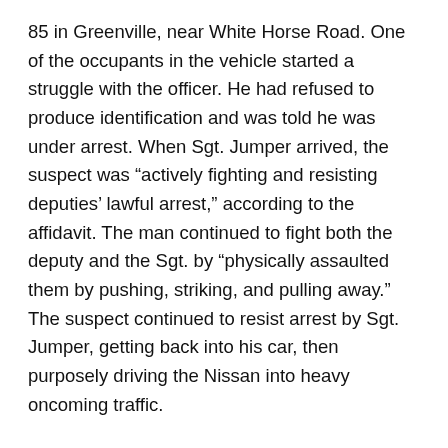85 in Greenville, near White Horse Road. One of the occupants in the vehicle started a struggle with the officer. He had refused to produce identification and was told he was under arrest. When Sgt. Jumper arrived, the suspect was “actively fighting and resisting deputies’ lawful arrest,” according to the affidavit. The man continued to fight both the deputy and the Sgt. by “physically assaulted them by pushing, striking, and pulling away.” The suspect continued to resist arrest by Sgt. Jumper, getting back into his car, then purposely driving the Nissan into heavy oncoming traffic.
The fleeing suspect continued to drive away, dragging Sgt. Jumper alongside the vehicle. He went straight into oncoming traffic, causing a collision, which